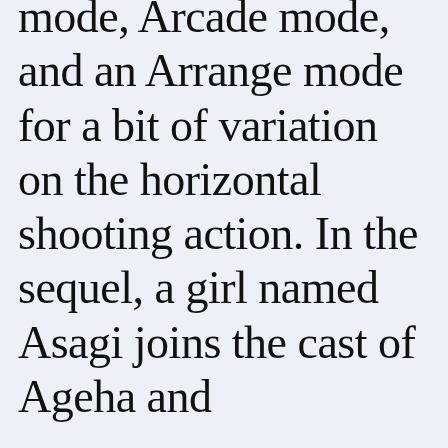mode, Arcade mode, and an Arrange mode for a bit of variation on the horizontal shooting action. In the sequel, a girl named Asagi joins the cast of Ageha and